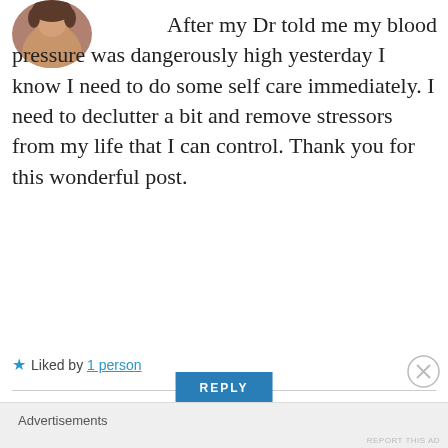[Figure (photo): Circular avatar photo of a person, cropped at top of page]
After my Dr told me my blood pressure was dangerously high yesterday I know I need to do some self care immediately. I need to declutter a bit and remove stressors from my life that I can control. Thank you for this wonderful post.
★ Liked by 1 person
REPLY
Advertisements
REPORT THIS AD